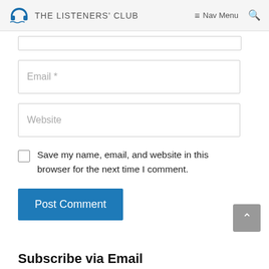THE LISTENERS' CLUB — Nav Menu
Email *
Website
Save my name, email, and website in this browser for the next time I comment.
Post Comment
Subscribe via Email